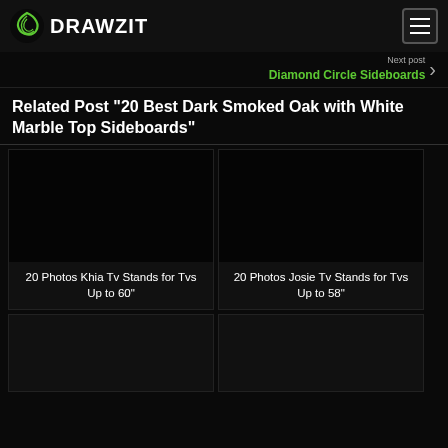DRAWZIT
Next post
Diamond Circle Sideboards
Related Post "20 Best Dark Smoked Oak with White Marble Top Sideboards"
20 Photos Khia Tv Stands for Tvs Up to 60"
20 Photos Josie Tv Stands for Tvs Up to 58"